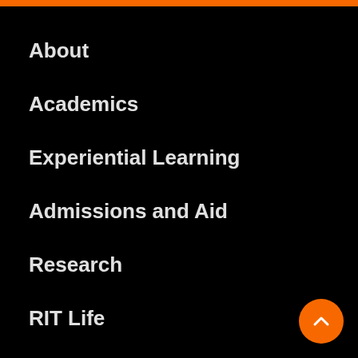About
Academics
Experiential Learning
Admissions and Aid
Research
RIT Life